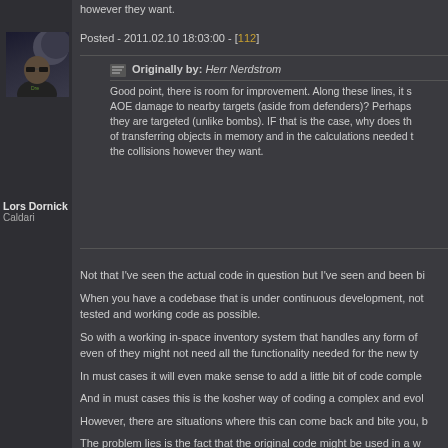however they want.
Posted - 2011.02.10 18:03:00 - [112]
[Figure (photo): Avatar photo of Lors Dornick - man with sunglasses and dark t-shirt against moon/night background]
Lors Dornick
Caldari
Originally by: Herr Nerdstrom
Good point, there is room for improvement. Along these lines, it so AOE damage to nearby targets (aside from defenders)? Perhaps they are targeted (unlike bombs). IF that is the case, why does the of transferring objects in memory and in the calculations needed t the collisions however they want.
Not that I've seen the actual code in question but I've seen and been bi
When you have a codebase that is under continuous development, not tested and working code as possible.
So with a working in-space inventory system that handles any form of even of they might not need all the functionality needed for the new ty
In must cases it will even make sense to add a little bit of code comple
And in must cases this is the kosher way of coding a complex and evol
However, there are situations where this can come back and bite you, b
The problem lies is the fact that the original code might be used in a w
This can create all kind of confusing errors in the original code to be d